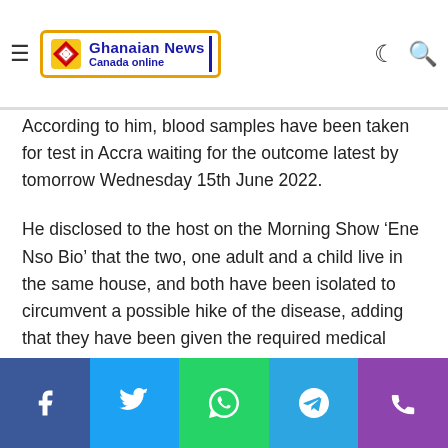Ghanaian News Canada online
According to him, blood samples have been taken for test in Accra waiting for the outcome latest by tomorrow Wednesday 15th June 2022.
He disclosed to the host on the Morning Show ‘Ene Nso Bio’ that the two, one adult and a child live in the same house, and both have been isolated to circumvent a possible hike of the disease, adding that they have been given the required medical attention and are now responding to treatment.
Richard Essien admonished the general public to eschew the habit of eating dead animals when found in the bush and also adhere strictly to the Covid-19 protocols.
Share buttons: Facebook, Twitter, WhatsApp, Telegram, Phone